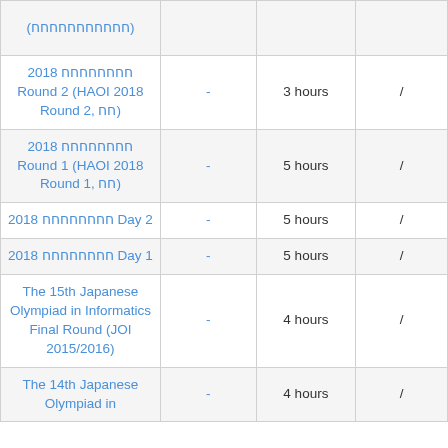| Contest Name |  | Duration |  |
| --- | --- | --- | --- |
| (חחחחחחחחחחח) | - |  | / |
| 2018 חחחחחחחח Round 2 (HAOI 2018 Round 2, חח) | - | 3 hours | / |
| 2018 חחחחחחחח Round 1 (HAOI 2018 Round 1, חח) | - | 5 hours | / |
| 2018 חחחחחחחח Day 2 | - | 5 hours | / |
| 2018 חחחחחחחח Day 1 | - | 5 hours | / |
| The 15th Japanese Olympiad in Informatics Final Round (JOI 2015/2016) | - | 4 hours | / |
| The 14th Japanese Olympiad in | - | 4 hours | / |